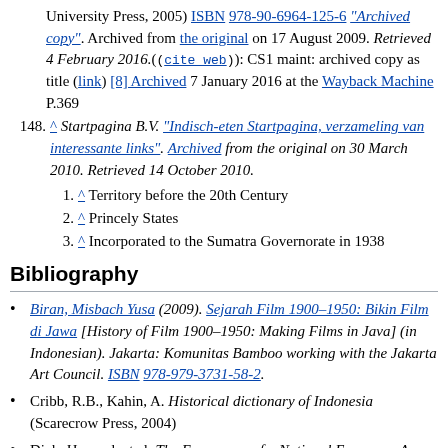University Press, 2005) ISBN 978-90-6964-125-6 "Archived copy". Archived from the original on 17 August 2009. Retrieved 4 February 2016.((cite web)): CS1 maint: archived copy as title (link) [8] Archived 7 January 2016 at the Wayback Machine P.369
148. ^ Startpagina B.V. "Indisch-eten Startpagina, verzameling van interessante links". Archived from the original on 30 March 2010. Retrieved 14 October 2010.
1. ^ Territory before the 20th Century
2. ^ Princely States
3. ^ Incorporated to the Sumatra Governorate in 1938
Bibliography
Biran, Misbach Yusa (2009). Sejarah Film 1900–1950: Bikin Film di Jawa [History of Film 1900–1950: Making Films in Java] (in Indonesian). Jakarta: Komunitas Bamboo working with the Jakarta Art Council. ISBN 978-979-3731-58-2.
Cribb, R.B., Kahin, A. Historical dictionary of Indonesia (Scarecrow Press, 2004)
Dick, Howard, et al. The Emergence of a National Economy: An Economic History of Indonesia, 1800–2000 (U. of Hawaii Press, 2002) online edition
Friend, T. (2003). Indonesian Destinies. Harvard University Press. ISBN 0-674-01137-6.